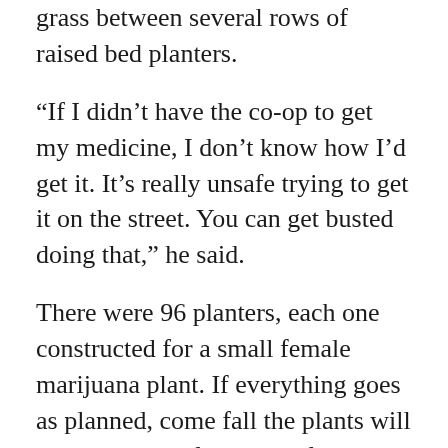grass between several rows of raised bed planters.
“If I didn’t have the co-op to get my medicine, I don’t know how I’d get it. It’s really unsafe trying to get it on the street. You can get busted doing that,” he said.
There were 96 planters, each one constructed for a small female marijuana plant. If everything goes as planned, come fall the plants will have grown to four to six feet in height and